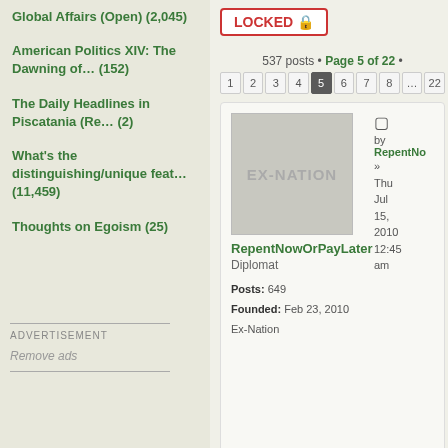Global Affairs (Open) (2,045)
American Politics XIV: The Dawning of… (152)
The Daily Headlines in Piscatania (Re… (2)
What's the distinguishing/unique feat… (11,459)
Thoughts on Egoism (25)
ADVERTISEMENT
Remove ads
LOCKED
537 posts • Page 5 of 22 •
[Figure (other): EX-NATION avatar/flag image - gray placeholder with text EX-NATION]
RepentNowOrPayLater
Diplomat
Posts: 649
Founded: Feb 23, 2010
Ex-Nation
by RepentNo » Thu Jul 15, 2010 12:45 am